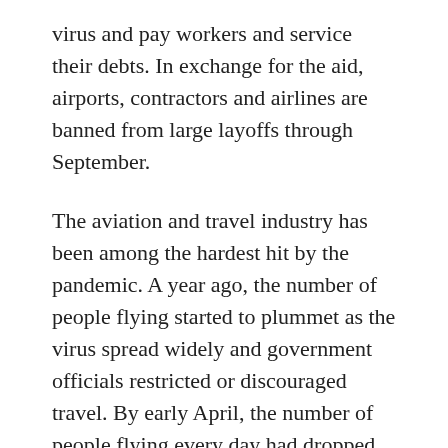virus and pay workers and service their debts. In exchange for the aid, airports, contractors and airlines are banned from large layoffs through September.
The aviation and travel industry has been among the hardest hit by the pandemic. A year ago, the number of people flying started to plummet as the virus spread widely and government officials restricted or discouraged travel. By early April, the number of people flying every day had dropped 96 percent compared with a year earlier.
Travel has recovered somewhat since then. An average of about a million people have been screened at airport security checkpoints each day over the past week, just over half as many as were